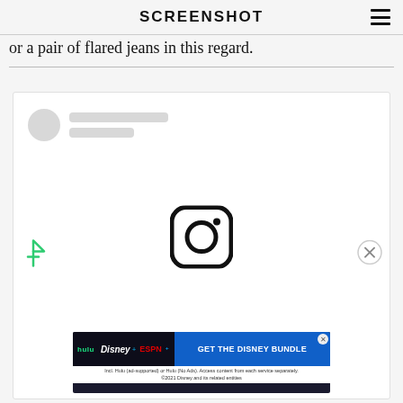SCREENSHOT
or a pair of flared jeans in this regard.
[Figure (screenshot): Embedded social media post placeholder with skeleton loading avatar and lines, Instagram logo icon in center, filter icon on left, close icon on right, and a Disney Bundle advertisement banner at the bottom.]